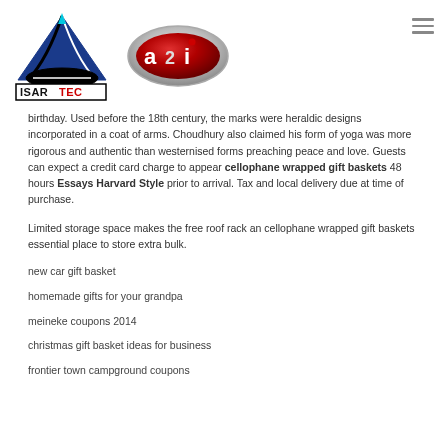[Figure (logo): ISARTEC logo with blue triangle and road design, and A2I red oval badge logo]
birthday. Used before the 18th century, the marks were heraldic designs incorporated in a coat of arms. Choudhury also claimed his form of yoga was more rigorous and authentic than westernised forms preaching peace and love. Guests can expect a credit card charge to appear cellophane wrapped gift baskets 48 hours Essays Harvard Style prior to arrival. Tax and local delivery due at time of purchase.
Limited storage space makes the free roof rack an cellophane wrapped gift baskets essential place to store extra bulk.
new car gift basket
homemade gifts for your grandpa
meineke coupons 2014
christmas gift basket ideas for business
frontier town campground coupons